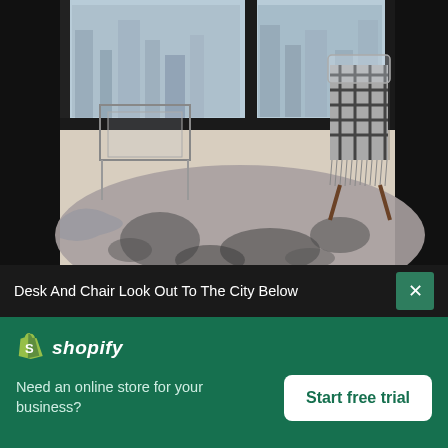[Figure (photo): Interior room photo: a glass/chrome desk and a chair with a black-and-white plaid throw are visible near large floor-to-ceiling windows overlooking a city. A dark spotted cowhide rug lies on a light wood floor in the foreground.]
Desk And Chair Look Out To The City Below
[Figure (logo): Shopify logo: white shopping bag icon with letter S, followed by italic bold white text 'shopify']
Need an online store for your business?
Start free trial